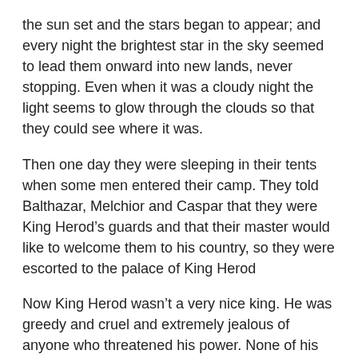the sun set and the stars began to appear; and every night the brightest star in the sky seemed to lead them onward into new lands, never stopping. Even when it was a cloudy night the light seems to glow through the clouds so that they could see where it was.
Then one day they were sleeping in their tents when some men entered their camp. They told Balthazar, Melchior and Caspar that they were King Herod’s guards and that their master would like to welcome them to his country, so they were escorted to the palace of King Herod
Now King Herod wasn’t a very nice king. He was greedy and cruel and extremely jealous of anyone who threatened his power. None of his own people were ever allowed to see him. Only the important people were allowed into his palace. So we've got to stay outside…